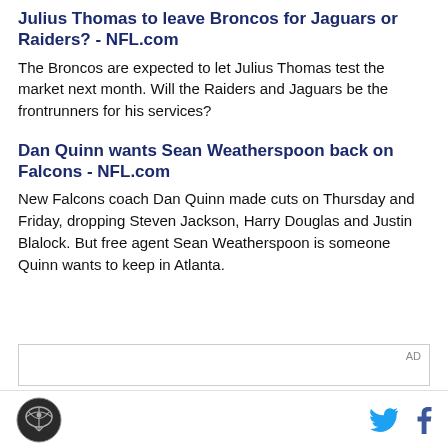Julius Thomas to leave Broncos for Jaguars or Raiders? - NFL.com
The Broncos are expected to let Julius Thomas test the market next month. Will the Raiders and Jaguars be the frontrunners for his services?
Dan Quinn wants Sean Weatherspoon back on Falcons - NFL.com
New Falcons coach Dan Quinn made cuts on Thursday and Friday, dropping Steven Jackson, Harry Douglas and Justin Blalock. But free agent Sean Weatherspoon is someone Quinn wants to keep in Atlanta.
[Figure (other): Advertisement box with AD label]
SB Nation logo, Twitter icon, Facebook icon